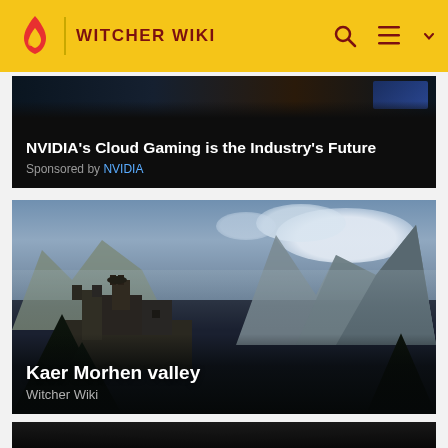WITCHER WIKI
NVIDIA's Cloud Gaming is the Industry's Future
Sponsored by NVIDIA
[Figure (photo): Kaer Morhen valley — a castle with mountain and cloudy sky backdrop, dark forest in foreground]
Kaer Morhen valley
Witcher Wiki
[Figure (photo): Partial strip of a dark landscape image, partially visible at bottom]